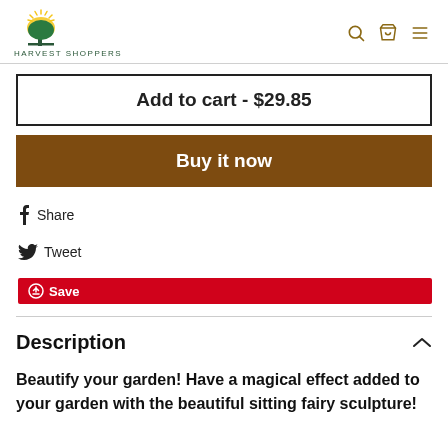Harvest Shoppers
Add to cart - $29.85
Buy it now
Share  Tweet  Save
Description
Beautify your garden! Have a magical effect added to your garden with the beautiful sitting fairy sculpture!